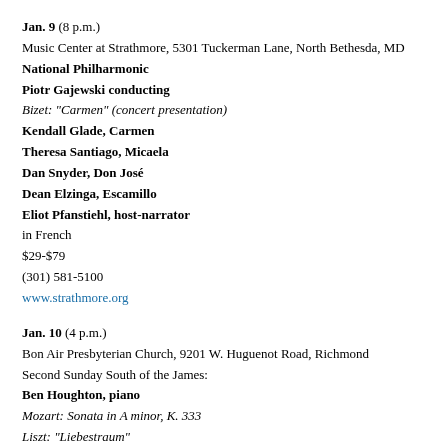Jan. 9 (8 p.m.)
Music Center at Strathmore, 5301 Tuckerman Lane, North Bethesda, MD
National Philharmonic
Piotr Gajewski conducting
Bizet: "Carmen" (concert presentation)
Kendall Glade, Carmen
Theresa Santiago, Micaela
Dan Snyder, Don José
Dean Elzinga, Escamillo
Eliot Pfanstiehl, host-narrator
in French
$29-$79
(301) 581-5100
www.strathmore.org
Jan. 10 (4 p.m.)
Bon Air Presbyterian Church, 9201 W. Huguenot Road, Richmond
Second Sunday South of the James:
Ben Houghton, piano
Mozart: Sonata in A minor, K. 333
Liszt: "Liebestraum"
Allitsen: Belmore, "Dream of No..."